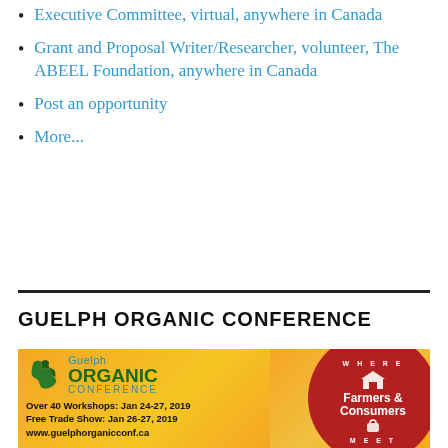Executive Committee, virtual, anywhere in Canada
Grant and Proposal Writer/Researcher, volunteer, The ABEEL Foundation, anywhere in Canada
Post an opportunity
More...
GUELPH ORGANIC CONFERENCE
[Figure (illustration): Guelph Organic Conference promotional banner showing logo with green North America map, text 'Over 40 Workshops: Jan 24-27, 2019', 'Free Trade Show: Jan 26-27, 2019', 'www.guelphorganicconf.ca', and a red circle badge reading 'WHERE Farmers & Consumers MEET' on orange/yellow background]